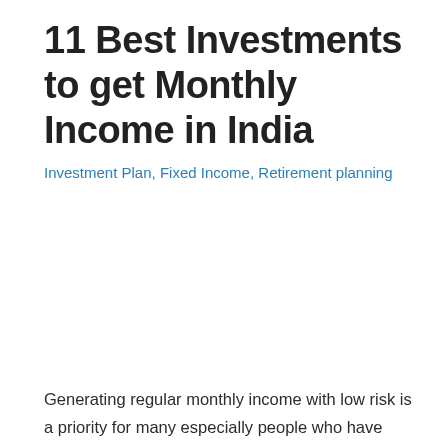11 Best Investments to get Monthly Income in India
Investment Plan, Fixed Income, Retirement planning
Generating regular monthly income with low risk is a priority for many especially people who have retired or new entrepreneurs who need regular income until their business stabilizes. In this post we list down 12 investments which can help you generate your